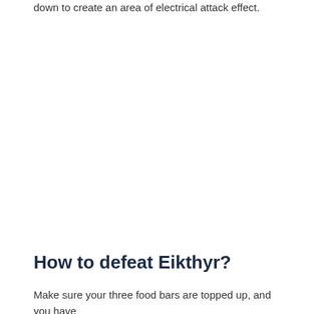down to create an area of electrical attack effect.
How to defeat Eikthyr?
Make sure your three food bars are topped up, and you have